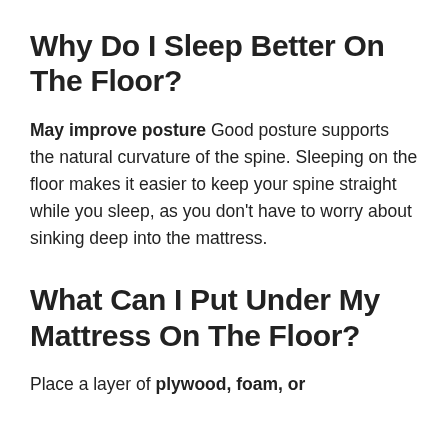Why Do I Sleep Better On The Floor?
May improve posture Good posture supports the natural curvature of the spine. Sleeping on the floor makes it easier to keep your spine straight while you sleep, as you don't have to worry about sinking deep into the mattress.
What Can I Put Under My Mattress On The Floor?
Place a layer of plywood, foam, or